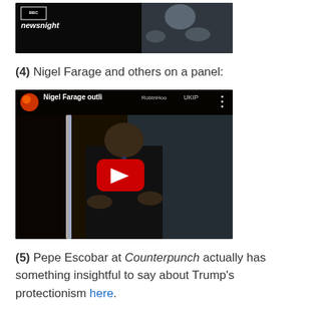[Figure (screenshot): BBC Newsnight video thumbnail showing a man in a grey jacket with hands raised]
(4) Nigel Farage and others on a panel:
[Figure (screenshot): YouTube video thumbnail titled 'Nigel Farage outli...' from channel RobinHoodUKIP, showing Nigel Farage on a panel with hands gesturing, with a red YouTube play button overlay]
(5) Pepe Escobar at Counterpunch actually has something insightful to say about Trump's protectionism here.
(6) the libertarian Justin Raimondo has an interesting